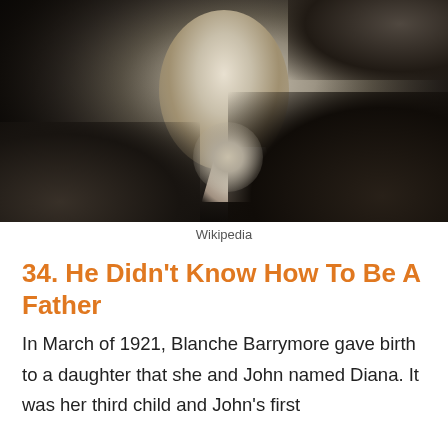[Figure (photo): Black and white historical photograph of a woman in early 20th century dress with white collar, shown in profile/three-quarter view against a dark background.]
Wikipedia
34. He Didn’t Know How To Be A Father
In March of 1921, Blanche Barrymore gave birth to a daughter that she and John named Diana. It was her third child and John’s first